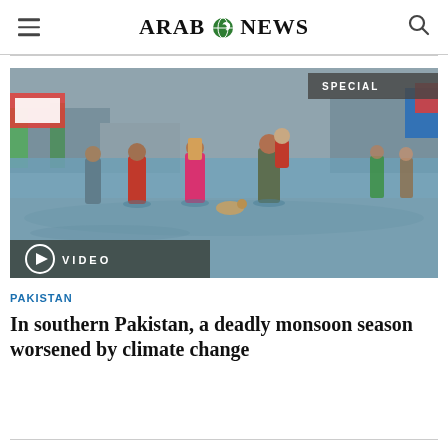ARAB NEWS
[Figure (photo): People wading through flood waters in southern Pakistan during monsoon season. A man carries a child while others walk through knee-deep water on a flooded street. A VIDEO badge and SPECIAL badge are overlaid on the image.]
PAKISTAN
In southern Pakistan, a deadly monsoon season worsened by climate change